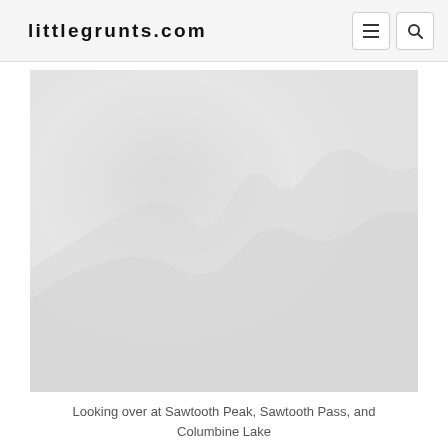littlegrunts.com
[Figure (photo): A washed-out/faded landscape photograph showing a mountainous scene with Sawtooth Peak, Sawtooth Pass, and Columbine Lake]
Looking over at Sawtooth Peak, Sawtooth Pass, and Columbine Lake